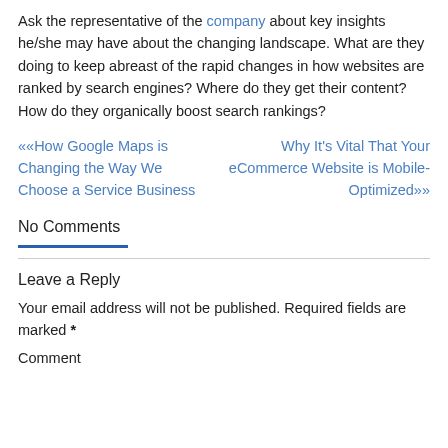Ask the representative of the company about key insights he/she may have about the changing landscape. What are they doing to keep abreast of the rapid changes in how websites are ranked by search engines? Where do they get their content? How do they organically boost search rankings?
««How Google Maps is Changing the Way We Choose a Service Business   Why It's Vital That Your eCommerce Website is Mobile-Optimized»»
No Comments
Leave a Reply
Your email address will not be published. Required fields are marked *
Comment